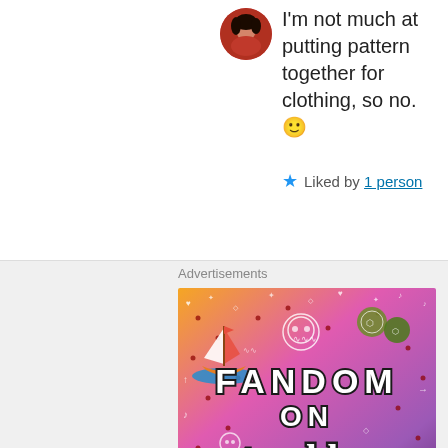I'm not much at putting pattern together for clothing, so no. 🙂
★ Liked by 1 person
Advertisements
[Figure (illustration): Colorful gradient advertisement banner for 'Fandom on Tumblr' with orange-to-purple gradient background, cartoon stickers (sailboat, skull, dice), red octopus and green leaf character at bottom, and decorative white doodles scattered throughout. Large bold text reads FANDOM ON tumblr.]